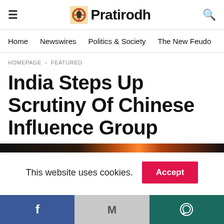≡  Pratirodh  🔍
Home   Newswires   Politics & Society   The New Feudo
HOMEPAGE › FEATURED
India Steps Up Scrutiny Of Chinese Influence Group
[Figure (photo): Dark image strip at bottom of article header area]
This website uses cookies.  Accept
[Figure (infographic): Social share bar with Facebook, Gmail (M), and WhatsApp icons]